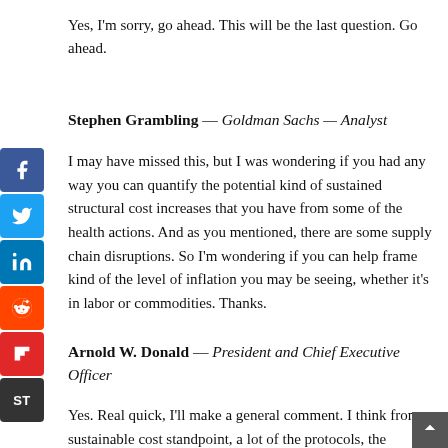Yes, I'm sorry, go ahead. This will be the last question. Go ahead.
Stephen Grambling — Goldman Sachs — Analyst
I may have missed this, but I was wondering if you had any way you can quantify the potential kind of sustained structural cost increases that you have from some of the health actions. And as you mentioned, there are some supply chain disruptions. So I'm wondering if you can help frame kind of the level of inflation you may be seeing, whether it's in labor or commodities. Thanks.
Arnold W. Donald — President and Chief Executive Officer
Yes. Real quick, I'll make a general comment. I think from a sustainable cost standpoint, a lot of the protocols, the